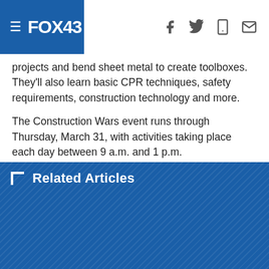FOX43
projects and bend sheet metal to create toolboxes. They'll also learn basic CPR techniques, safety requirements, construction technology and more.
The Construction Wars event runs through Thursday, March 31, with activities taking place each day between 9 a.m. and 1 p.m.
Related Articles
Students at Milton Hershey School build tiny homes for camping resort
School picture day on St. Patrick's Day creates green screen funny photos
Pennsylvania approves stronger charter school regulations